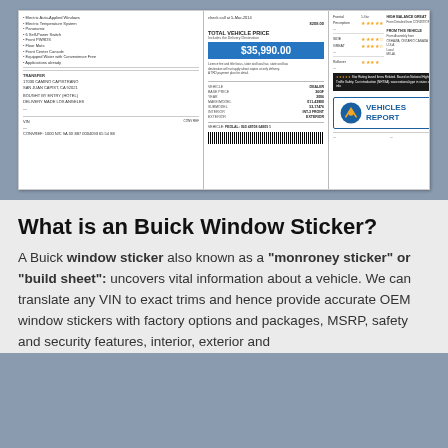[Figure (photo): A Buick Monroney window sticker showing vehicle details, price of $35,990.00, dealer info, QR code, barcode, NHTSA safety ratings with stars, and a Vehicles Report logo]
What is an Buick Window Sticker?
A Buick window sticker also known as a "monroney sticker" or "build sheet": uncovers vital information about a vehicle. We can translate any VIN to exact trims and hence provide accurate OEM window stickers with factory options and packages, MSRP, safety and security features, interior, exterior and